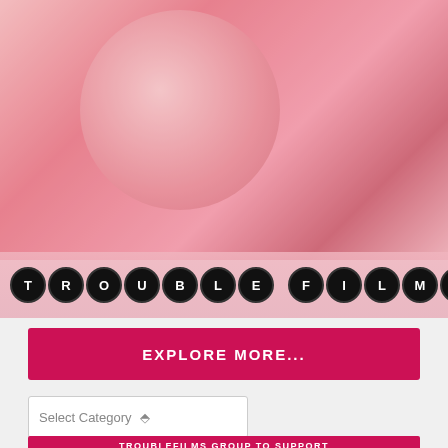[Figure (photo): Two women facing each other holding a large pink/translucent balloon or bubble between them, one with red fingernails, photographed from above with pink tones throughout]
[Figure (logo): TROUBLE FILMS logo with each letter in individual black circular buttons on a pink background]
EXPLORE MORE...
Select Category
TROUBLEFILMS GROUP TO SUPPORT